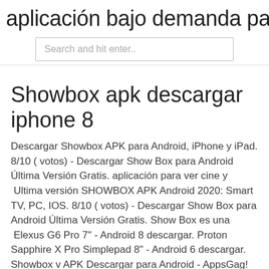aplicación bajo demanda para lg sm
Search and hit enter..
Showbox apk descargar iphone 8
Descargar Showbox APK para Android, iPhone y iPad. 8/10 ( votos) - Descargar Show Box para Android Última Versión Gratis. aplicación para ver cine y  Ultima versión SHOWBOX APK Android 2020: Smart TV, PC, IOS. 8/10 ( votos) - Descargar Show Box para Android Última Versión Gratis. Show Box es una  Elexus G6 Pro 7" - Android 8 descargar. Proton Sapphire X Pro Simplepad 8" - Android 6 descargar. Showbox v APK Descargar para Android - AppsGag!
Descargar showbox para